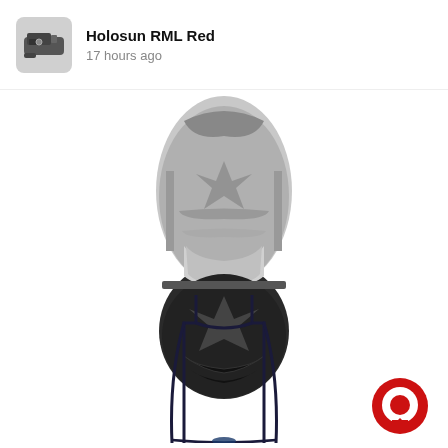[Figure (screenshot): App notification header with a small thumbnail image of a Holosun RML Red optic device on the left, followed by the text 'Holosun RML Red' in bold and '17 hours ago' in gray below it]
[Figure (photo): Bottom view of a shoe sole showing black rubber tread patterns with geometric shapes including star/arrow patterns at heel and toe areas, gray mid-section]
[Figure (illustration): Line drawing outline of a sleeveless athletic tank top/vest in dark navy/black lines on white background, shown from front view]
[Figure (logo): Red circular chat bubble icon (letter O shape) in the bottom right corner]